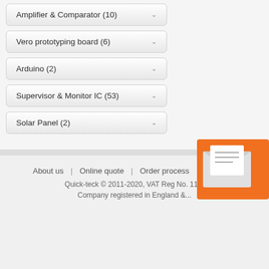Amplifier & Comparator (10)
Vero prototyping board (6)
Arduino (2)
Supervisor & Monitor IC (53)
Solar Panel (2)
About us | Online quote | Order process | Order ...
Quick-teck © 2011-2020, VAT Reg No. 114...
Company registered in England &...
[Figure (illustration): Orange envelope icon with letter, partially visible at bottom right]